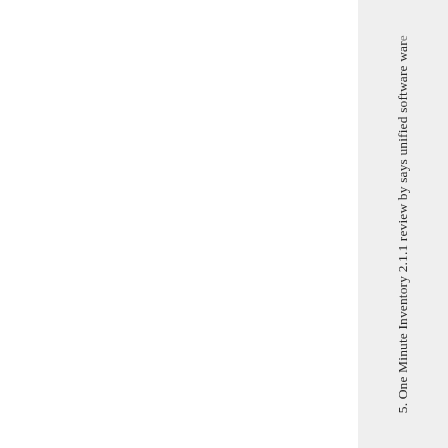5. One Minute Inventory 2.1.1 review by says unified software ware